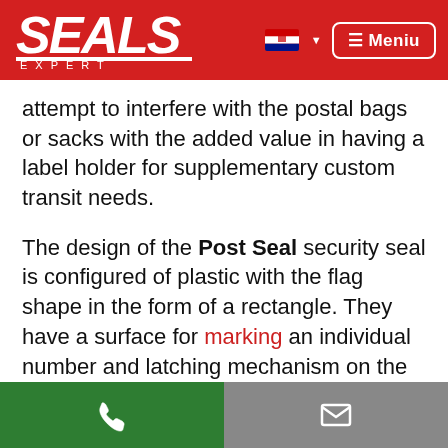SEALS EXPERT — navigation header with logo, Croatian flag, and menu button
attempt to interfere with the postal bags or sacks with the added value in having a label holder for supplementary custom transit needs.
The design of the Post Seal security seal is configured of plastic with the flag shape in the form of a rectangle. They have a surface for marking an individual number and latching mechanism on the one hand, and a plastic cable on the other. Like a zip tie, the cable forms a loop during mill threading into the collet, which can not be separated without damaging the cable or the locking mechanism.
Phone icon (green background) | Email icon (grey background)